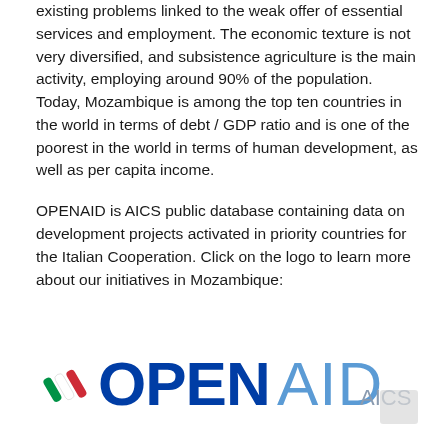existing problems linked to the weak offer of essential services and employment. The economic texture is not very diversified, and subsistence agriculture is the main activity, employing around 90% of the population. Today, Mozambique is among the top ten countries in the world in terms of debt / GDP ratio and is one of the poorest in the world in terms of human development, as well as per capita income.
OPENAID is AICS public database containing data on development projects activated in priority countries for the Italian Cooperation. Click on the logo to learn more about our initiatives in Mozambique:
[Figure (logo): OPENAID AICS logo — OPEN in bold blue, AID in lighter blue, AICS in small grey text, with Italian flag stripe icon to the left]